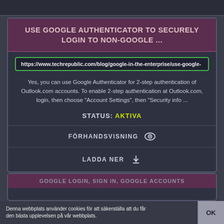USE GOOGLE AUTHENTICATOR TO SECURELY LOGIN TO NON-GOOGLE ...
https://www.techrepublic.com/blog/google-in-the-enterprise/use-google-
Yes, you can use Google Authenticator for 2-step authentication of Outlook.com accounts. To enable 2-step authentication at Outlook.com, login, then choose "Account Settings", then "Security info ...
STATUS: AKTIVA
FÖRHANDSVISNING
LADDA NER
GOOGLE LOGIN, SIGN IN, GOOGLE ACCOUNTS
Denna webbplats använder cookies för att säkerställa att du får den bästa upplevelsen på vår webbplats.